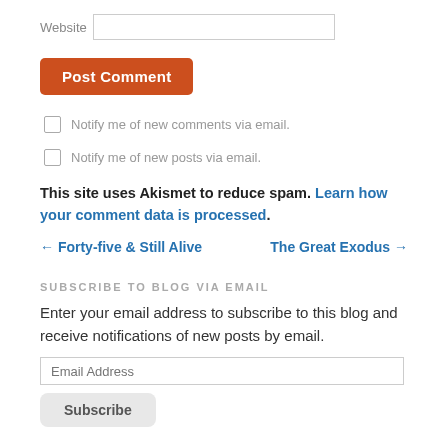Website [input field]
Post Comment
Notify me of new comments via email.
Notify me of new posts via email.
This site uses Akismet to reduce spam. Learn how your comment data is processed.
← Forty-five & Still Alive    The Great Exodus →
SUBSCRIBE TO BLOG VIA EMAIL
Enter your email address to subscribe to this blog and receive notifications of new posts by email.
Email Address [input field]
Subscribe